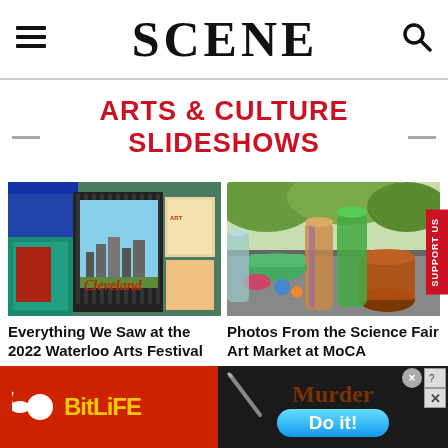SCENE
ARTS & CULTURE SLIDESHOWS
[Figure (photo): Outdoor art fair booth showing a Cleveland cityscape painting and other colorful artwork displayed on black metal grids, blue tent canopy visible]
Everything We Saw at the 2022 Waterloo Arts Festival
[Figure (photo): Colorful glassware art pieces on a table at the Science Fair Art Market at MoCA — vases, cups and decorative glass objects in green, amber, and multicolor]
Photos From the Science Fair Art Market at MoCA
[Figure (infographic): Advertisement banner: left side red with BitLife logo in yellow text; right side dark with Murder text and blue Do it! button]